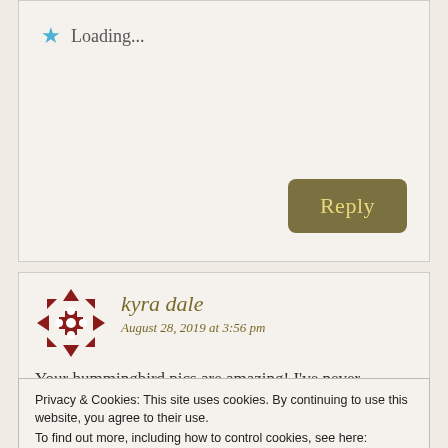Loading...
Reply
kyra dale
August 28, 2019 at 3:56 pm
Your hummingbird pics are amazing! I've never thought of going to Blue Ridge mountains, but now I will!
Privacy & Cookies: This site uses cookies. By continuing to use this website, you agree to their use.
To find out more, including how to control cookies, see here:
Cookie Policy
Close and accept
Sally